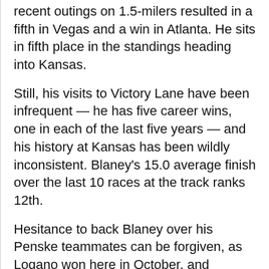recent outings on 1.5-milers resulted in a fifth in Vegas and a win in Atlanta. He sits in fifth place in the standings heading into Kansas.
Still, his visits to Victory Lane have been infrequent — he has five career wins, one in each of the last five years — and his history at Kansas has been wildly inconsistent. Blaney's 15.0 average finish over the last 10 races at the track ranks 12th.
Hesitance to back Blaney over his Penske teammates can be forgiven, as Logano won here in October, and Keselowski boasts an average finish of 10.9 over the last 10, including a win in May 2019.
Based largely on the strength of these three drivers, in addition to Stewart-Haas' Kevin Har— who hasn't been much of a threat this seaso but has been outstanding at Kansas and is +000 to